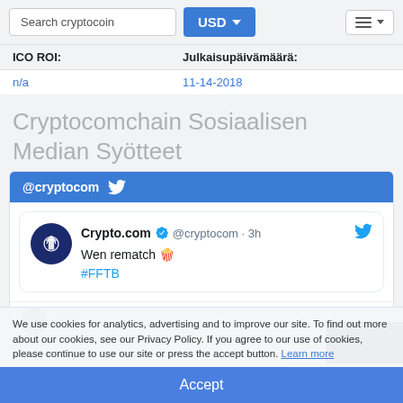[Figure (screenshot): Website navigation bar with search box, USD currency selector button, and hamburger menu]
| ICO ROI: | Julkaisupäivämäärä: |
| --- | --- |
| n/a | 11-14-2018 |
Cryptocomchain Sosiaalisen Median Syötteet
[Figure (screenshot): Social media feed showing @cryptocom Twitter tab with a tweet from Crypto.com: 'Wen rematch 🍿 #FFTB']
We use cookies for analytics, advertising and to improve our site. To find out more about our cookies, see our Privacy Policy. If you agree to our use of cookies, please continue to use our site or press the accept button. Learn more
Accept